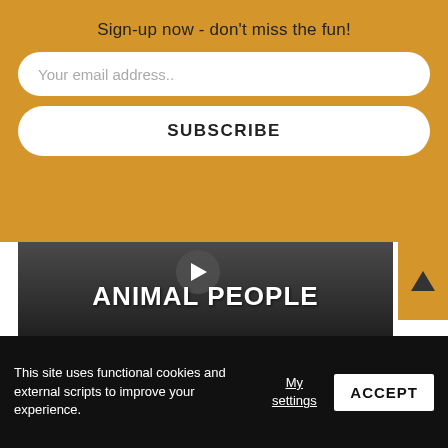Sign-up now - don't miss the fun!
Your email address..
SUBSCRIBE
[Figure (photo): Dark image showing a protest or gathering with 'ANIMAL PEOPLE' sign visible, and a play button overlay]
SHARE:
Related Posts
[Figure (photo): Partial preview of a related post image showing green and warm tones]
This site uses functional cookies and external scripts to improve your experience.
My settings
ACCEPT